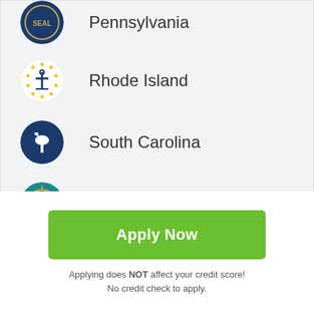Pennsylvania
Rhode Island
South Carolina
South Dakota
Tennessee
Texas
[Figure (other): Scroll to top button with upward arrow icon]
Apply Now
Applying does NOT affect your credit score! No credit check to apply.